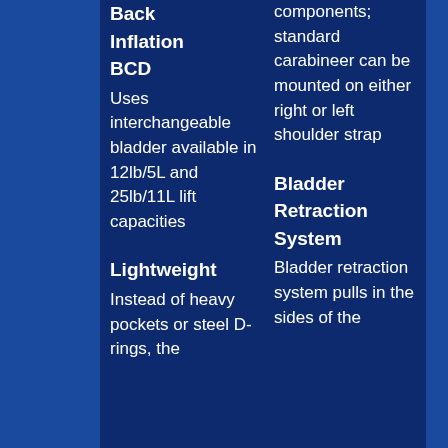Back Inflation BCD
Uses interchangeable bladder available in 12lb/5L and 25lb/11L lift capacities
Lightweight
Instead of heavy pockets or steel D-rings, the
components; standard carabineer can be mounted on either right or left shoulder strap
Bladder Retraction System
Bladder retraction system pulls in the sides of the